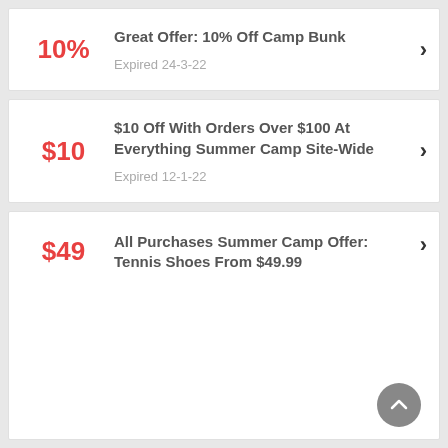10% | Great Offer: 10% Off Camp Bunk | Expired 24-3-22
$10 | $10 Off With Orders Over $100 At Everything Summer Camp Site-Wide | Expired 12-1-22
$49 | All Purchases Summer Camp Offer: Tennis Shoes From $49.99